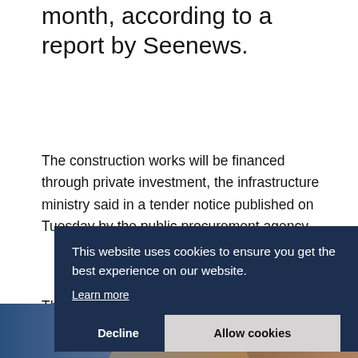month, according to a report by Seenews.
The construction works will be financed through private investment, the infrastructure ministry said in a tender notice published on Tuesday by the public procurement agency.
The duration of the contract will be 35 years. Candidates can submit their offers until November 26. Albania cancelled the first tender for offers for the c... n...
This website uses cookies to ensure you get the best experience on our website. Learn more
Decline    Allow cookies